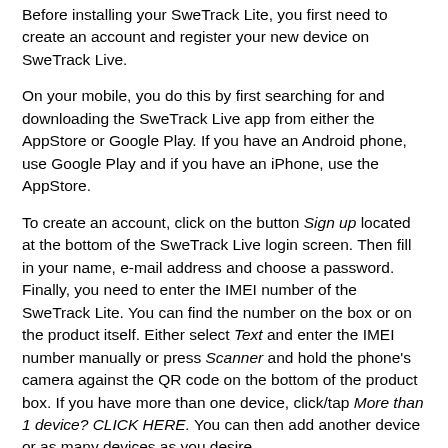Before installing your SweTrack Lite, you first need to create an account and register your new device on SweTrack Live.
On your mobile, you do this by first searching for and downloading the SweTrack Live app from either the AppStore or Google Play. If you have an Android phone, use Google Play and if you have an iPhone, use the AppStore.
To create an account, click on the button Sign up located at the bottom of the SweTrack Live login screen. Then fill in your name, e-mail address and choose a password. Finally, you need to enter the IMEI number of the SweTrack Lite. You can find the number on the box or on the product itself. Either select Text and enter the IMEI number manually or press Scanner and hold the phone's camera against the QR code on the bottom of the product box. If you have more than one device, click/tap More than 1 device? CLICK HERE. You can then add another device or as many devices as you desire.